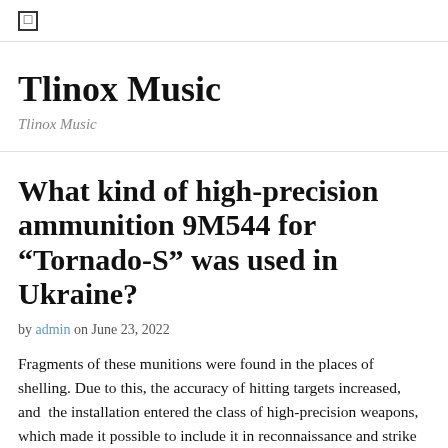☐
Tlinox Music
Tlinox Music
What kind of high-precision ammunition 9M544 for “Tornado-S” was used in Ukraine?
by admin on June 23, 2022
Fragments of these munitions were found in the places of shelling. Due to this, the accuracy of hitting targets increased, and  the installation entered the class of high-precision weapons, which made it possible to include it in reconnaissance and strike contours of the operational